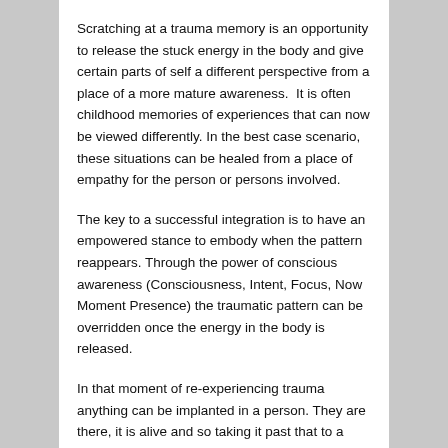Scratching at a trauma memory is an opportunity to release the stuck energy in the body and give certain parts of self a different perspective from a place of a more mature awareness.  It is often childhood memories of experiences that can now be viewed differently. In the best case scenario, these situations can be healed from a place of empathy for the person or persons involved.
The key to a successful integration is to have an empowered stance to embody when the pattern reappears. Through the power of conscious awareness (Consciousness, Intent, Focus, Now Moment Presence) the traumatic pattern can be overridden once the energy in the body is released.
In that moment of re-experiencing trauma anything can be implanted in a person. They are there, it is alive and so taking it past that to a place of comfort and empowerment then anchoring that in with a tool such as an affirmation, visualization, feeling in the body, or specific movement will draw that more empowered energy in when the old trigger